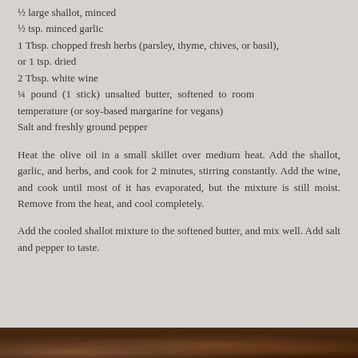½ large shallot, minced
½ tsp. minced garlic
1 Tbsp. chopped fresh herbs (parsley, thyme, chives, or basil), or 1 tsp. dried
2 Tbsp. white wine
¼ pound (1 stick) unsalted butter, softened to room temperature (or soy-based margarine for vegans)
Salt and freshly ground pepper
Heat the olive oil in a small skillet over medium heat. Add the shallot, garlic, and herbs, and cook for 2 minutes, stirring constantly. Add the wine, and cook until most of it has evaporated, but the mixture is still moist. Remove from the heat, and cool completely.
Add the cooled shallot mixture to the softened butter, and mix well. Add salt and pepper to taste.
[Figure (photo): Bottom strip showing a dark food photograph]